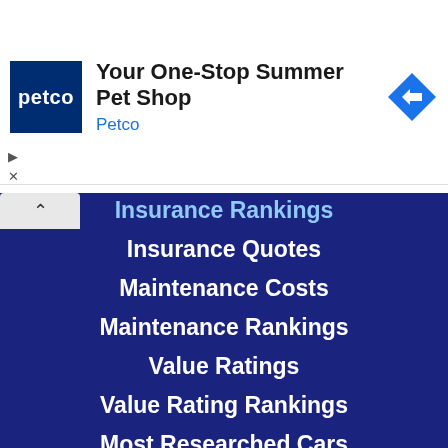[Figure (logo): Petco advertisement banner with Petco logo, heading 'Your One-Stop Summer Pet Shop', brand name 'Petco', and a blue diamond navigation arrow icon]
Insurance Rankings
Insurance Quotes
Maintenance Costs
Maintenance Rankings
Value Ratings
Value Rating Rankings
Most Researched Cars
New Cars for Sale
Used Cars for Sale
Certified Pre-Owned Cars
Cars for Sale Near Me